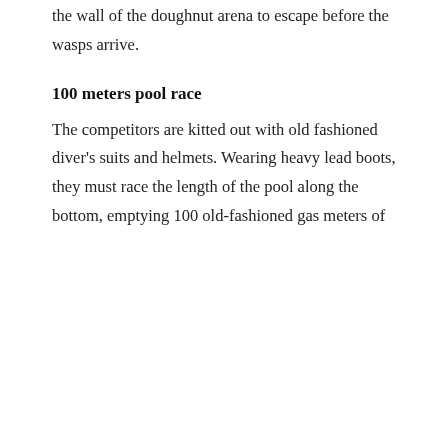an oversize bread-stick, then cut their way through the wall of the doughnut arena to escape before the wasps arrive.
100 meters pool race
The competitors are kitted out with old fashioned diver's suits and helmets. Wearing heavy lead boots, they must race the length of the pool along the bottom, emptying 100 old-fashioned gas meters of their contents as they go, and reach the finish line
Privacy & Cookies: This site uses cookies. By continuing to use this website, you agree to their use. To find out more, including how to control cookies, see here: Cookie Policy
Close and accept